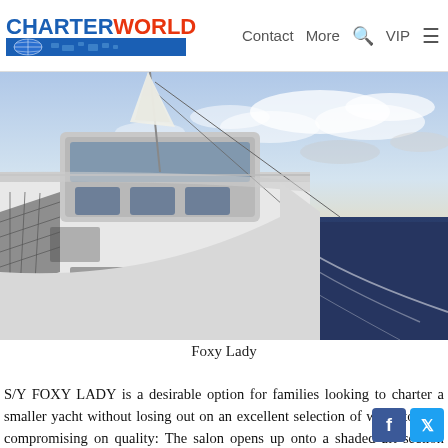CHARTERWORLD | Contact More VIP
[Figure (photo): Photograph taken from the deck of a white catamaran sailing yacht, showing the port side deck, helm station, and open ocean with a cloudy sky in the background.]
Foxy Lady
S/Y FOXY LADY is a desirable option for families looking to charter a smaller yacht without losing out on an excellent selection of water toys or compromising on quality: The salon opens up onto a shaded aft section where there is an dining area and our made towards the stern, while th